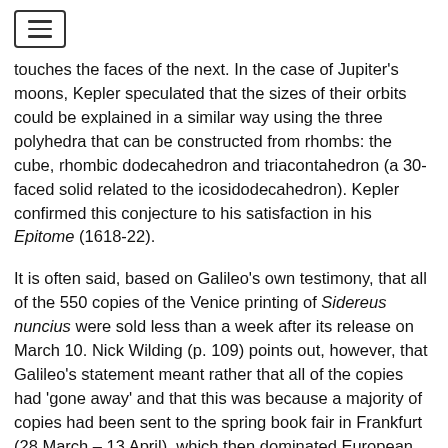touches the faces of the next. In the case of Jupiter's moons, Kepler speculated that the sizes of their orbits could be explained in a similar way using the three polyhedra that can be constructed from rhombs: the cube, rhombic dodecahedron and triacontahedron (a 30-faced solid related to the icosidodecahedron). Kepler confirmed this conjecture to his satisfaction in his Epitome (1618-22).
It is often said, based on Galileo's own testimony, that all of the 550 copies of the Venice printing of Sidereus nuncius were sold less than a week after its release on March 10. Nick Wilding (p. 109) points out, however, that Galileo's statement meant rather that all of the copies had 'gone away' and that this was because a majority of copies had been sent to the spring book fair in Frankfurt (28 March – 13 April), which then dominated European international book distribution – a remarkable feat given the journey times in the early seventeenth century. The interest generated by Sidereus nuncius at the fair was evidently sufficient to persuade the Frankfurt printer/publisher Zacharias Palthenius (the successor of Johann Wechel) to quickly reprint it, without authorization, and this pirate edition appeared within six months